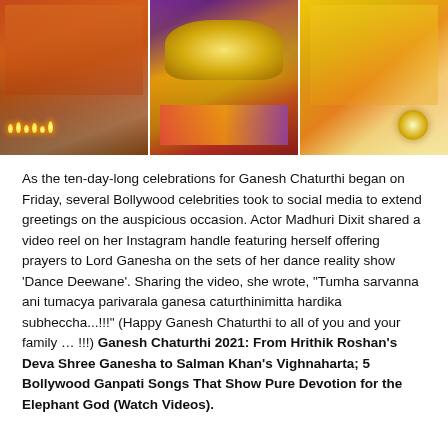[Figure (photo): Three photos side by side: left shows a woman in orange saree performing puja with diya lights, center shows close-up of a decorated Ganesh idol with someone's hands, right shows a woman in yellow saree with ring visible on her hand.]
As the ten-day-long celebrations for Ganesh Chaturthi began on Friday, several Bollywood celebrities took to social media to extend greetings on the auspicious occasion. Actor Madhuri Dixit shared a video reel on her Instagram handle featuring herself offering prayers to Lord Ganesha on the sets of her dance reality show 'Dance Deewane'. Sharing the video, she wrote, "Tumha sarvanna ani tumacya parivarala ganesa caturthinimitta hardika subheccha...!!!" (Happy Ganesh Chaturthi to all of you and your family … !!!) Ganesh Chaturthi 2021: From Hrithik Roshan's Deva Shree Ganesha to Salman Khan's Vighnaharta; 5 Bollywood Ganpati Songs That Show Pure Devotion for the Elephant God (Watch Videos).